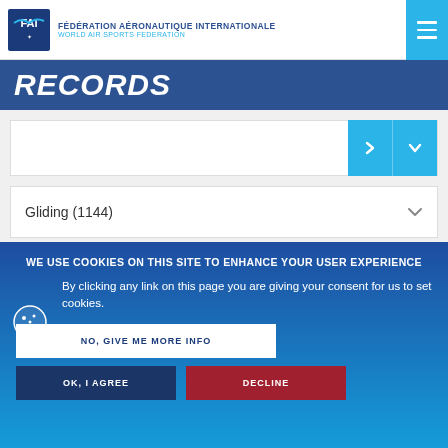FÉDÉRATION AÉRONAUTIQUE INTERNATIONALE — WORLD AIR SPORTS FEDERATION
RECORDS
Gliding (1144)
Type of record
WE USE COOKIES ON THIS SITE TO ENHANCE YOUR USER EXPERIENCE
By clicking any link on this page you are giving your consent for us to set cookies.
NO, GIVE ME MORE INFO
OK, I AGREE
DECLINE